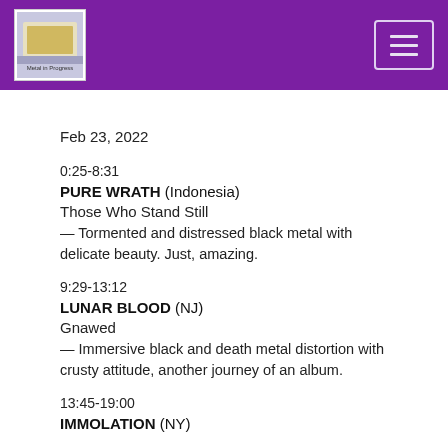Metal in Progress — navigation header with hamburger menu
Feb 23, 2022
0:25-8:31
PURE WRATH (Indonesia)
Those Who Stand Still
— Tormented and distressed black metal with delicate beauty. Just, amazing.
9:29-13:12
LUNAR BLOOD (NJ)
Gnawed
— Immersive black and death metal distortion with crusty attitude, another journey of an album.
13:45-19:00
IMMOLATION (NY)